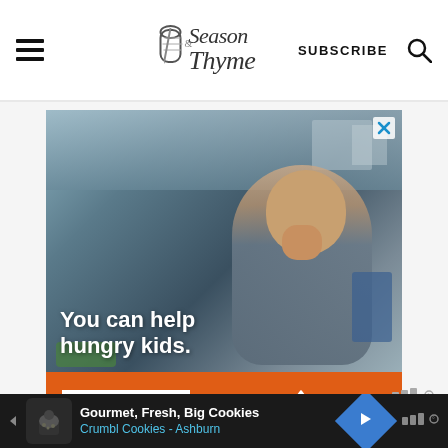Season & Thyme | SUBSCRIBE
[Figure (photo): Advertisement for No Kid Hungry charity. Photo of a young boy touching his mouth, with text 'You can help hungry kids.' and an orange bar with 'LEARN HOW' button and 'NO KID HUNGRY' logo.]
serve it hot or cold
[Figure (photo): Bottom banner advertisement: Gourmet, Fresh, Big Cookies - Crumbl Cookies - Ashburn, with cookie icon and blue diamond navigation arrow.]